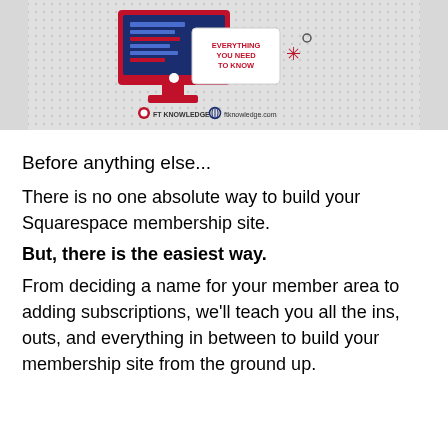[Figure (illustration): Banner image showing a computer monitor with a website interface and a popup dialog reading 'EVERYTHING YOU NEED TO KNOW', with FT KNOWLEDGE logo and ftknowledge.com website URL at the bottom, on a dotted gray background.]
Before anything else...
There is no one absolute way to build your Squarespace membership site.
But, there is the easiest way.
From deciding a name for your member area to adding subscriptions, we’ll teach you all the ins, outs, and everything in between to build your membership site from the ground up.